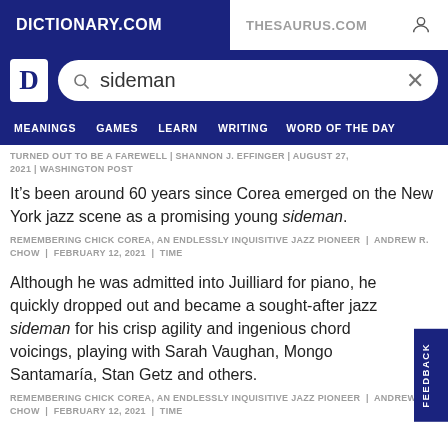DICTIONARY.COM    THESAURUS.COM
sideman (search)
MEANINGS  GAMES  LEARN  WRITING  WORD OF THE DAY
TURNED OUT TO BE A FAREWELL | SHANNON J. EFFINGER | AUGUST 27, 2021 | WASHINGTON POST
It’s been around 60 years since Corea emerged on the New York jazz scene as a promising young sideman.
REMEMBERING CHICK COREA, AN ENDLESSLY INQUISITIVE JAZZ PIONEER | ANDREW R. CHOW | FEBRUARY 12, 2021 | TIME
Although he was admitted into Juilliard for piano, he quickly dropped out and became a sought-after jazz sideman for his crisp agility and ingenious chord voicings, playing with Sarah Vaughan, Mongo Santamaría, Stan Getz and others.
REMEMBERING CHICK COREA, AN ENDLESSLY INQUISITIVE JAZZ PIONEER | ANDREW R. CHOW | FEBRUARY 12, 2021 | TIME